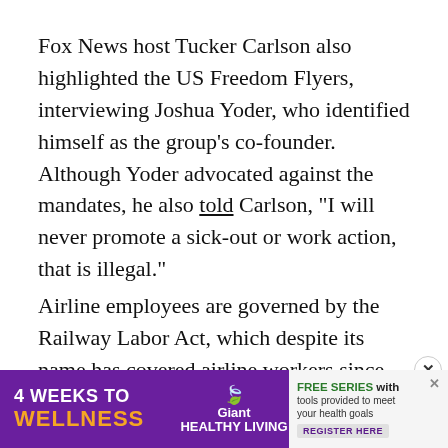Fox News host Tucker Carlson also highlighted the US Freedom Flyers, interviewing Joshua Yoder, who identified himself as the group's co-founder. Although Yoder advocated against the mandates, he also told Carlson, "I will never promote a sick-out or work action, that is illegal."
Airline employees are governed by the Railway Labor Act, which despite its name has covered airline workers since 1936, according to a Congressional Research Service report. The labor law regulates...
[Figure (other): Advertisement banner: '4 WEEKS TO WELLNESS' with Giant Healthy Living logo, 'FREE SERIES with tools provided to meet your health goals' and 'REGISTER HERE' button. Purple and white colored ad.]